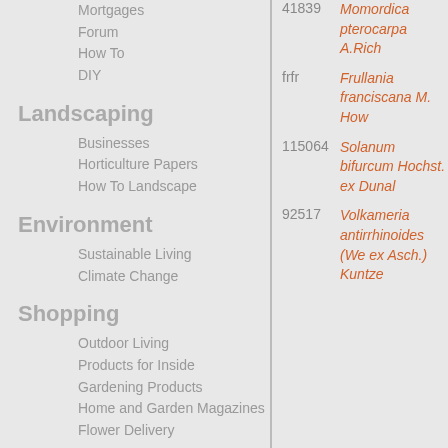Mortgages
Forum
How To
DIY
Landscaping
Businesses
Horticulture Papers
How To Landscape
Environment
Sustainable Living
Climate Change
Shopping
Outdoor Living
Products for Inside
Gardening Products
Home and Garden Magazines
Flower Delivery
Farming
41839 Momordica pterocarpa A.Rich
frfr Frullania franciscana M. How
115064 Solanum bifurcum Hochst. ex Dunal
92517 Volkameria antirrhinoides (We ex Asch.) Kuntze